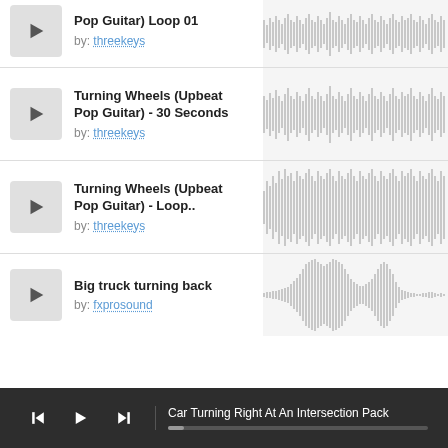Turning Wheels (Upbeat Pop Guitar) Loop 01 by: threekeys
Turning Wheels (Upbeat Pop Guitar) - 30 Seconds by: threekeys
Turning Wheels (Upbeat Pop Guitar) - Loop.. by: threekeys
Big truck turning back by: fxprosound
[Figure (other): Waveform visualization for track 1]
[Figure (other): Waveform visualization for track 2]
[Figure (other): Waveform visualization for track 3]
[Figure (other): Waveform visualization for track 4]
Car Turning Right At An Intersection Pack